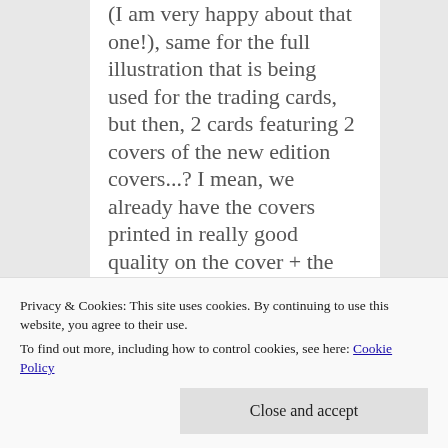(I am very happy about that one!), same for the full illustration that is being used for the trading cards, but then, 2 cards featuring 2 covers of the new edition covers...? I mean, we already have the covers printed in really good quality on the cover + the printed textless version inside the book + the digital
Privacy & Cookies: This site uses cookies. By continuing to use this website, you agree to their use. To find out more, including how to control cookies, see here: Cookie Policy
Close and accept